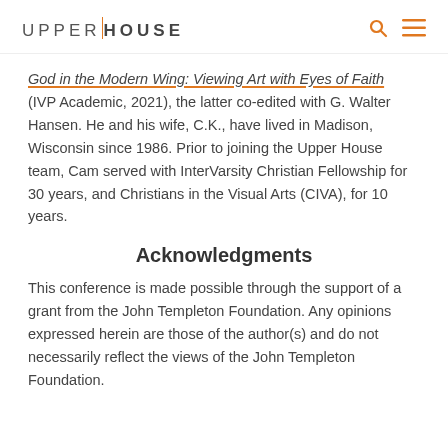UPPER HOUSE
God in the Modern Wing: Viewing Art with Eyes of Faith (IVP Academic, 2021), the latter co-edited with G. Walter Hansen. He and his wife, C.K., have lived in Madison, Wisconsin since 1986. Prior to joining the Upper House team, Cam served with InterVarsity Christian Fellowship for 30 years, and Christians in the Visual Arts (CIVA), for 10 years.
Acknowledgments
This conference is made possible through the support of a grant from the John Templeton Foundation. Any opinions expressed herein are those of the author(s) and do not necessarily reflect the views of the John Templeton Foundation.